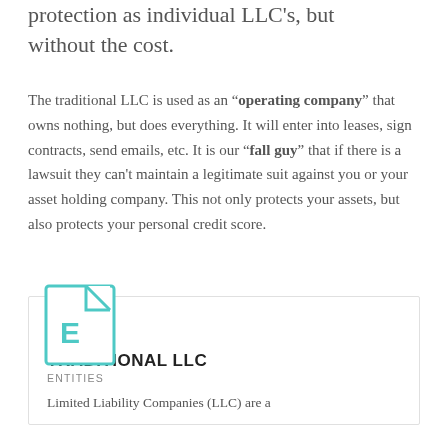protection as individual LLC's, but without the cost.
The traditional LLC is used as an “operating company” that owns nothing, but does everything. It will enter into leases, sign contracts, send emails, etc. It is our “fall guy” that if there is a lawsuit they can't maintain a legitimate suit against you or your asset holding company. This not only protects your assets, but also protects your personal credit score.
[Figure (illustration): Teal/turquoise document file icon with a folded corner and the letter E in teal on the front]
TRADITIONAL LLC
ENTITIES
Limited Liability Companies (LLC) are a